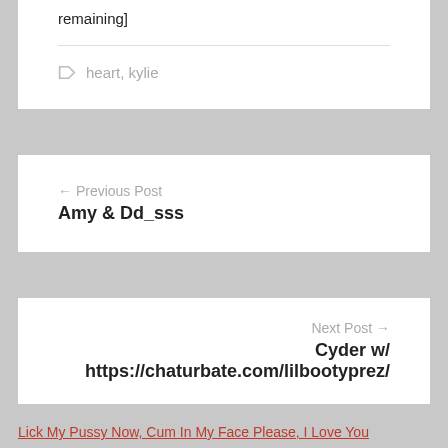remaining]
heart, kylie
← Previous Post
Amy & Dd_sss
Next Post →
Cyder w/
https://chaturbate.com/lilbootyprez/
Lick My Pussy Now, Cum In My Face Please, I Love You